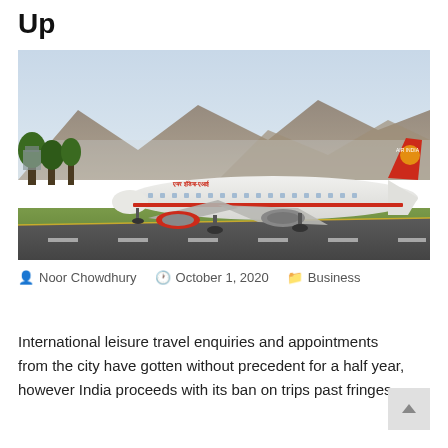Up
[Figure (photo): An Air India Airbus A320 aircraft on a runway taxiway with rocky mountains and tropical trees in the background. The aircraft is white with red tail and engines bearing the Air India logo.]
Noor Chowdhury   October 1, 2020   Business
International leisure travel enquiries and appointments from the city have gotten without precedent for a half year, however India proceeds with its ban on trips past fringes.